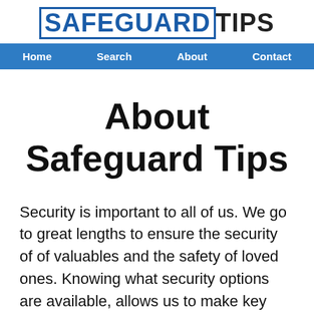SAFEGUARD TIPS
Home  Search  About  Contact
About Safeguard Tips
Security is important to all of us. We go to great lengths to ensure the security of of valuables and the safety of loved ones. Knowing what security options are available, allows us to make key decisions on how to protect ourselves, our family